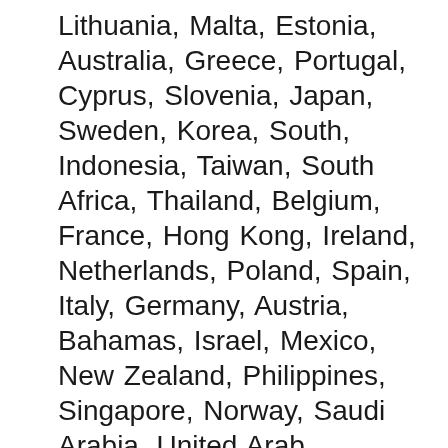Lithuania, Malta, Estonia, Australia, Greece, Portugal, Cyprus, Slovenia, Japan, Sweden, Korea, South, Indonesia, Taiwan, South Africa, Thailand, Belgium, France, Hong Kong, Ireland, Netherlands, Poland, Spain, Italy, Germany, Austria, Bahamas, Israel, Mexico, New Zealand, Philippines, Singapore, Norway, Saudi Arabia, United Arab Emirates, Qatar, Kuwait, Bahrain, Croatia, Republic of, Malaysia, Chile, Colombia, Costa Rica, Antigua and Barbuda, Aruba, Belize, Dominica, Grenada, Saint Kitts-Nevis, Saint Lucia, Montserrat, Turks and Caicos Islands, Barbados, Bangladesh, Bermuda, Brunei Darussalam, Bolivia, Egypt, French Guiana, Guernsey, Gibraltar, Guadeloupe, Iceland, Jersey, Jordan, Cambodia, Cayman Islands, Liechtenstein, Sri Lanka, Luxembourg, Monaco, Macau, Martinique